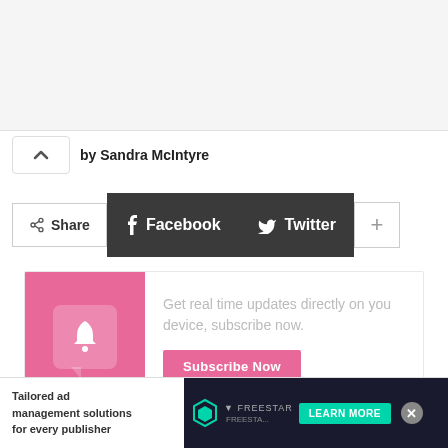by Sandra McIntyre
[Figure (screenshot): Social share buttons row: Share, Facebook, Twitter, and plus button]
[Figure (infographic): Subscribe widget with pink background on left showing bell icon in speech bubble, and text 'Get real time updates directly on you device, subscribe now.' with a pink Subscribe Now button]
[Figure (screenshot): Bottom section showing dark background with text 'Are You Looking For A Security' and an ad overlay for Freestar with 'Tailored ad management solutions for every publisher' and a Learn More button]